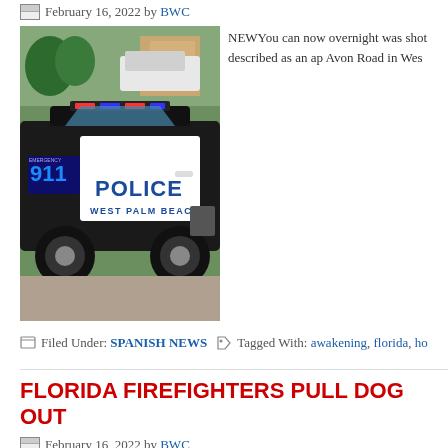February 16, 2022 by BWC
[Figure (photo): West Palm Beach Police car, black and white SUV with 'POLICE WEST PALM BEACH' text and emergency 911 decal, parked outdoors]
NEWYou can now overnight was shot described as an ap Avon Road in Wes
Filed Under: SPANISH NEWS  Tagged With: awakening, florida, ho
FLORIDA FIREFIGHTERS PULL DOG OUT
February 16, 2022 by BWC
[Figure (photo): Partial view of another news article image at the bottom of the page]
NEWYou can now